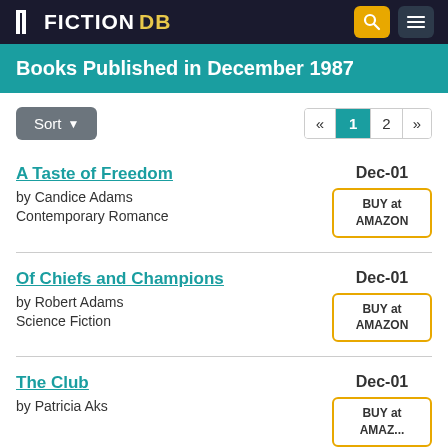FICTIONDB
Books Published in December 1987
A Taste of Freedom by Candice Adams Contemporary Romance Dec-01
Of Chiefs and Champions by Robert Adams Science Fiction Dec-01
The Club by Patricia Aks Dec-01